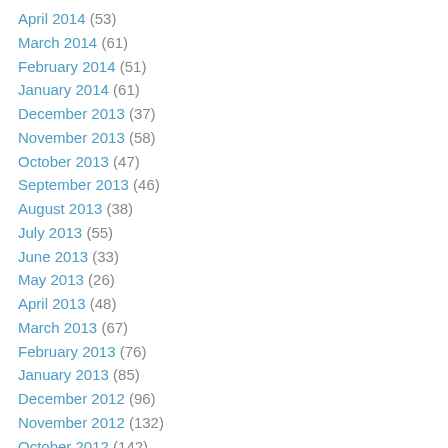April 2014 (53)
March 2014 (61)
February 2014 (51)
January 2014 (61)
December 2013 (37)
November 2013 (58)
October 2013 (47)
September 2013 (46)
August 2013 (38)
July 2013 (55)
June 2013 (33)
May 2013 (26)
April 2013 (48)
March 2013 (67)
February 2013 (76)
January 2013 (85)
December 2012 (96)
November 2012 (132)
October 2012 (142)
September 2012 (174)